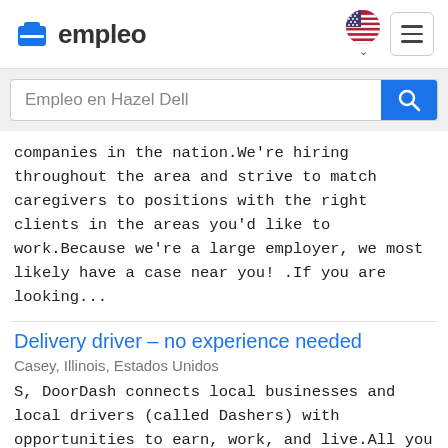empleo
Empleo en Hazel Dell
companies in the nation.We're hiring throughout the area and strive to match caregivers to positions with the right clients in the areas you'd like to work.Because we're a large employer, we most likely have a case near you! .If you are looking...
Delivery driver – no experience needed
Casey, Illinois, Estados Unidos
S, DoorDash connects local businesses and local drivers (called Dashers) with opportunities to earn, work, and live.All you need is a mode of transportation (bike, car, scooter) and a smartphone to start making money.You can even sign up and begin working that same day.With Dasher Direct, you can al...